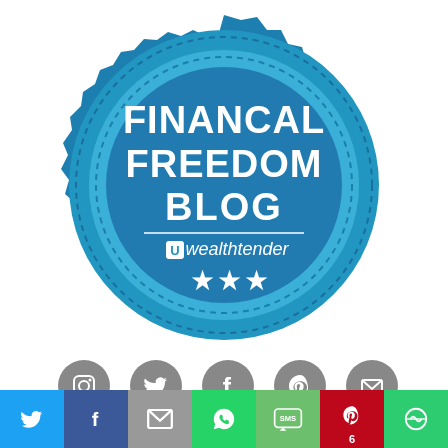[Figure (logo): Wealthtender Financial Freedom Blog badge/seal — circular blue badge with scalloped/gear edge, dotted inner ring, bold white text reading FINANCAL FREEDOM BLOG, a Wealthtender logo with three white stars below]
[Figure (infographic): Row of five grey circular social media icons: Instagram, Twitter, Facebook, Pinterest, Email/envelope]
Privacy Policy and Disclaimers  /  Proudly powered by
[Figure (infographic): Share bar at bottom with colored buttons: Twitter (blue), Facebook (dark blue), Email (grey), WhatsApp (green), SMS (light green), Pinterest with count 6 (red), More/share (green)]